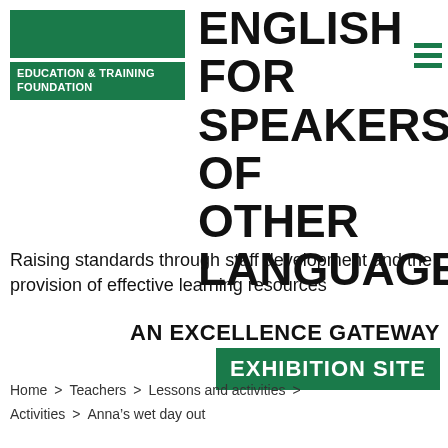[Figure (logo): Education & Training Foundation logo: green rectangle bar above green badge with white bold text 'EDUCATION & TRAINING FOUNDATION']
ENGLISH FOR SPEAKERS OF OTHER LANGUAGES
Raising standards through staff development and the provision of effective learning resources
AN EXCELLENCE GATEWAY
EXHIBITION SITE
Home > Teachers > Lessons and activities > Activities > Anna's wet day out